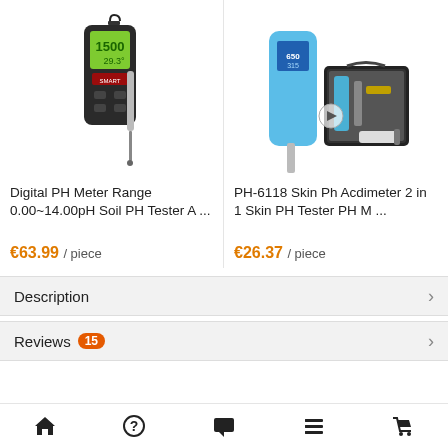[Figure (photo): Digital pH Meter handheld device with probe, showing green LCD display with readings 15.00 and 29.3]
[Figure (photo): PH-6118 Skin Ph Acdimeter 2-in-1 kit with blue device and carrying case with accessories]
Digital PH Meter Range 0.00~14.00pH Soil PH Tester A ...
PH-6118 Skin Ph Acdimeter 2 in 1 Skin PH Tester PH M ...
€63.99 / piece
€26.37 / piece
Description
Reviews 15